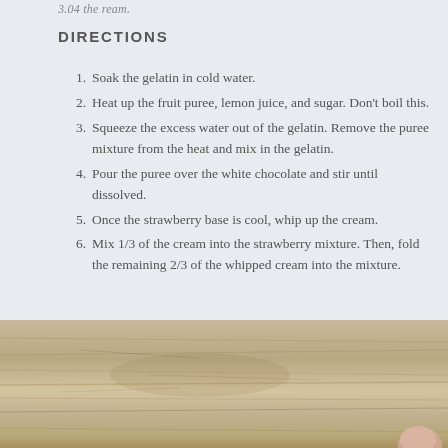...
DIRECTIONS
Soak the gelatin in cold water.
Heat up the fruit puree, lemon juice, and sugar. Don't boil this.
Squeeze the excess water out of the gelatin. Remove the puree mixture from the heat and mix in the gelatin.
Pour the puree over the white chocolate and stir until dissolved.
Once the strawberry base is cool, whip up the cream.
Mix 1/3 of the cream into the strawberry mixture. Then, fold the remaining 2/3 of the whipped cream into the mixture.
[Figure (photo): A wooden cutting board surface, worn and scratched, with a finger visible at the bottom right corner.]